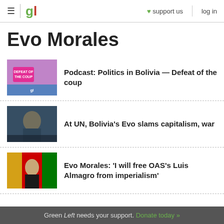gl  support us  log in
Evo Morales
Podcast: Politics in Bolivia — Defeat of the coup
At UN, Bolivia's Evo slams capitalism, war
Evo Morales: 'I will free OAS's Luis Almagro from imperialism'
Green Left needs your support. Donate today »